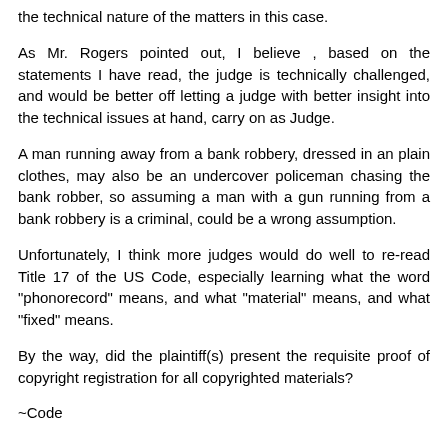the technical nature of the matters in this case.
As Mr. Rogers pointed out, I believe , based on the statements I have read, the judge is technically challenged, and would be better off letting a judge with better insight into the technical issues at hand, carry on as Judge.
A man running away from a bank robbery, dressed in an plain clothes, may also be an undercover policeman chasing the bank robber, so assuming a man with a gun running from a bank robbery is a criminal, could be a wrong assumption.
Unfortunately, I think more judges would do well to re-read Title 17 of the US Code, especially learning what the word "phonorecord" means, and what "material" means, and what "fixed" means.
By the way, did the plaintiff(s) present the requisite proof of copyright registration for all copyrighted materials?
~Code